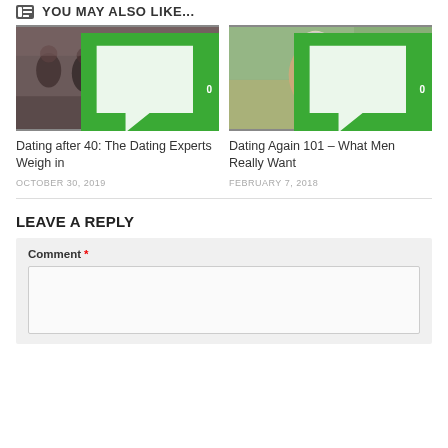YOU MAY ALSO LIKE...
[Figure (photo): Group of women standing together indoors]
0
Dating after 40: The Dating Experts Weigh in
OCTOBER 30, 2019
[Figure (photo): Older woman smiling and toasting outdoors]
0
Dating Again 101 – What Men Really Want
FEBRUARY 7, 2018
LEAVE A REPLY
Comment *